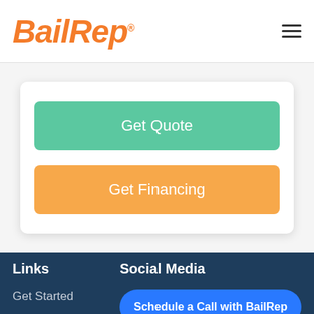[Figure (logo): BailRep orange italic logo with registered trademark symbol]
Get Quote
Get Financing
Links
Social Media
Get Started
FAQ
Schedule a Call with BailRep
Twitter